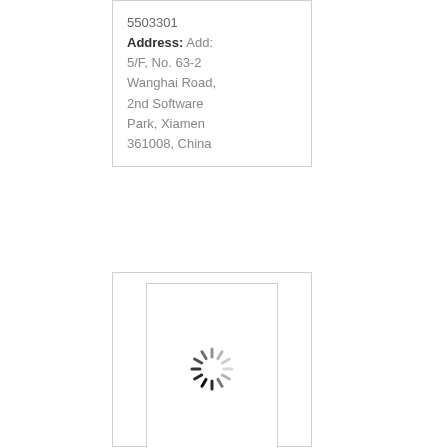5503301 Address: Add: 5/F, No. 63-2 Wanghai Road, 2nd Software Park, Xiamen 361008, China
[Figure (other): A loading spinner icon (circular dashed/segmented ring indicating loading state) displayed inside a bordered image placeholder box]